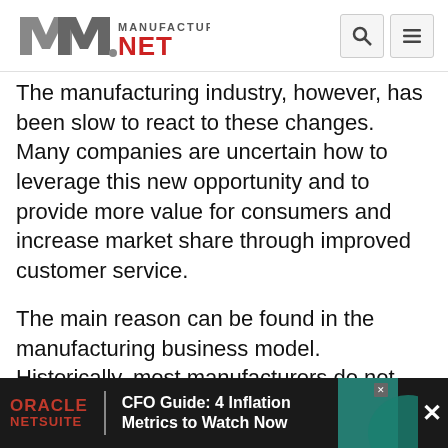Manufacturing NET - logo and navigation
The manufacturing industry, however, has been slow to react to these changes. Many companies are uncertain how to leverage this new opportunity and to provide more value for consumers and increase market share through improved customer service.
The main reason can be found in the manufacturing business model. Historically, most manufacturers do not interact directly with consumers of their product. Traditional customer relationships are owned and managed by dealers and channel partners, isolating the manufacturer to the role of product manufacturer and equipment.
Even with opportunities to reach past their
[Figure (infographic): Oracle NetSuite advertisement banner: CFO Guide: 4 Inflation Metrics to Watch Now, with teal graphic element and close button]